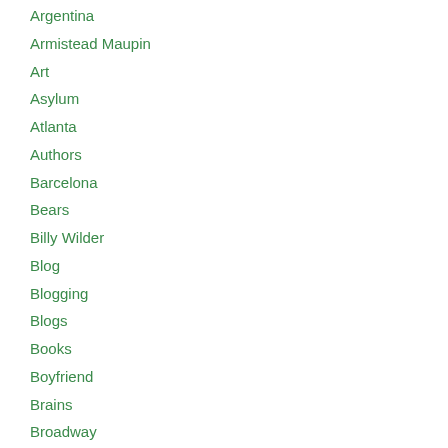Argentina
Armistead Maupin
Art
Asylum
Atlanta
Authors
Barcelona
Bears
Billy Wilder
Blog
Blogging
Blogs
Books
Boyfriend
Brains
Broadway
Broken Hearts